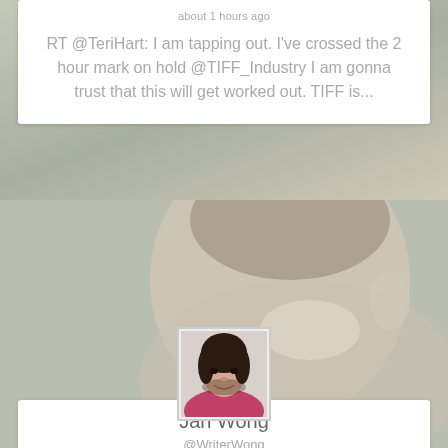about 1 hours ago
RT @TeriHart: I am tapping out. I've crossed the 2 hour mark on hold @TIFF_Industry I am gonna trust that this will get worked out. TIFF is...
[Figure (photo): Profile photo of Jan Wong, a woman with dark hair, wearing a magenta/pink blazer, smiling, against a neutral background. Photo is framed in a white bordered square.]
Jan Wong
@WriterWong
@TeriHart @TIFF_Industry
about 1 hours ago
RT @TeriHart: I am tapping out. I've crossed the 2 hour mark on hold @TIFF_Industry I am gonna trust that this will get worked out. TIFF is...